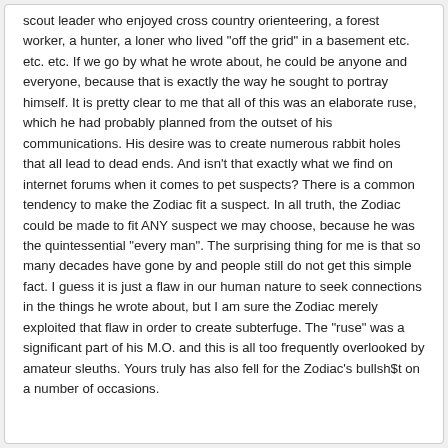scout leader who enjoyed cross country orienteering, a forest worker, a hunter, a loner who lived "off the grid" in a basement etc. etc. etc. If we go by what he wrote about, he could be anyone and everyone, because that is exactly the way he sought to portray himself. It is pretty clear to me that all of this was an elaborate ruse, which he had probably planned from the outset of his communications. His desire was to create numerous rabbit holes that all lead to dead ends. And isn't that exactly what we find on internet forums when it comes to pet suspects? There is a common tendency to make the Zodiac fit a suspect. In all truth, the Zodiac could be made to fit ANY suspect we may choose, because he was the quintessential "every man". The surprising thing for me is that so many decades have gone by and people still do not get this simple fact. I guess it is just a flaw in our human nature to seek connections in the things he wrote about, but I am sure the Zodiac merely exploited that flaw in order to create subterfuge. The "ruse" was a significant part of his M.O. and this is all too frequently overlooked by amateur sleuths. Yours truly has also fell for the Zodiac's bullsh$t on a number of occasions.